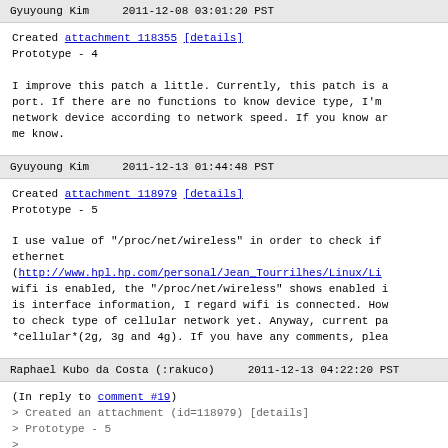Gyuyoung Kim    2011-12-08 03:01:20 PST
Created attachment 118355 [details]
Prototype - 4

I improve this patch a little. Currently, this patch is a port. If there are no functions to know device type, I'm network device according to network speed. If you know ar me know.
Gyuyoung Kim    2011-12-13 01:44:48 PST
Created attachment 118979 [details]
Prototype - 5

I use value of "/proc/net/wireless" in order to check if ethernet
(http://www.hpl.hp.com/personal/Jean_Tourrilhes/Linux/Li
wifi is enabled, the "/proc/net/wireless" shows enabled i is interface information, I regard wifi is connected. How to check type of cellular network yet. Anyway, current pa *cellular*(2g, 3g and 4g). If you have any comments, plea
Raphael Kubo da Costa (:rakuco)    2011-12-13 04:22:20 PST
(In reply to comment #19)
> Created an attachment (id=118979) [details]
> Prototype - 5
>